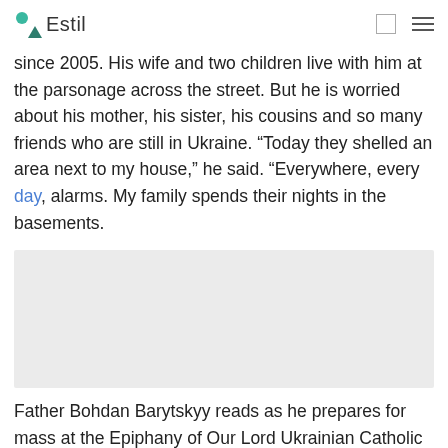Estil
since 2005. His wife and two children live with him at the parsonage across the street. But he is worried about his mother, his sister, his cousins and so many friends who are still in Ukraine. “Today they shelled an area next to my house,” he said. “Everywhere, every day, alarms. My family spends their nights in the basements.
[Figure (photo): Gray placeholder image rectangle representing a photo of Father Bohdan Barytskyy]
Father Bohdan Barytskyy reads as he prepares for mass at the Epiphany of Our Lord Ukrainian Catholic Church in St. Petersburg on Sunday,